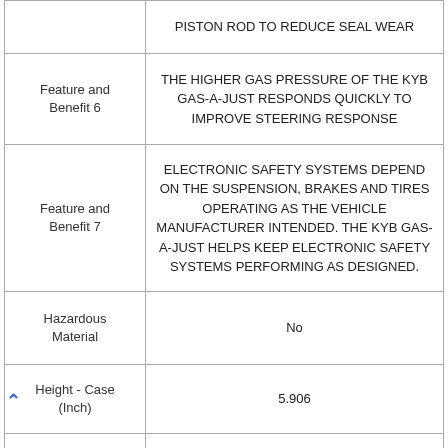| Attribute | Value |
| --- | --- |
|  | PISTON ROD TO REDUCE SEAL WEAR |
| Feature and Benefit 6 | THE HIGHER GAS PRESSURE OF THE KYB GAS-A-JUST RESPONDS QUICKLY TO IMPROVE STEERING RESPONSE |
| Feature and Benefit 7 | ELECTRONIC SAFETY SYSTEMS DEPEND ON THE SUSPENSION, BRAKES AND TIRES OPERATING AS THE VEHICLE MANUFACTURER INTENDED. THE KYB GAS-A-JUST HELPS KEEP ELECTRONIC SAFETY SYSTEMS PERFORMING AS DESIGNED. |
| Hazardous Material | No |
| Height - Case (Inch) | 5.906 |
| Height - Each (Inch) | 2.685 |
| Internal Rebound | N |